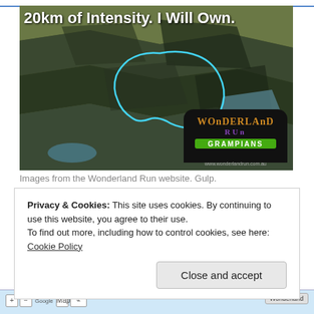[Figure (photo): Aerial/satellite 3D view of the Grampians mountain range with a cyan running route traced over the terrain. Text overlay reads '20km of Intensity. I Will Own.' Wonderland Run Grampians logo in bottom right corner with website www.wonderlandrun.com.au]
Images from the Wonderland Run website. Gulp.
Privacy & Cookies: This site uses cookies. By continuing to use this website, you agree to their use.
To find out more, including how to control cookies, see here: Cookie Policy
[Figure (screenshot): Bottom strip showing a Google Maps interface with map controls (+, -, Google, Map, satellite toggle buttons) and a Wonderland button on the right.]